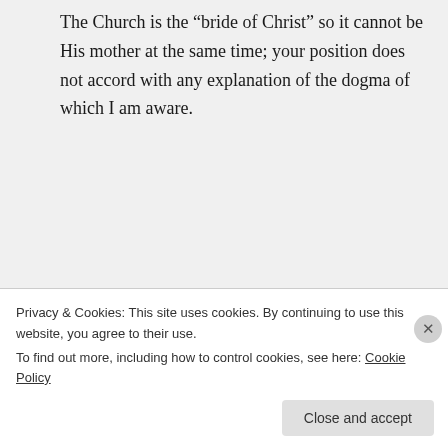The Church is the “bride of Christ” so it cannot be His mother at the same time; your position does not accord with any explanation of the dogma of which I am aware.
↳ Reply
overload on January 27, 2015 at 9:31 pm
Privacy & Cookies: This site uses cookies. By continuing to use this website, you agree to their use.
To find out more, including how to control cookies, see here: Cookie Policy
Close and accept